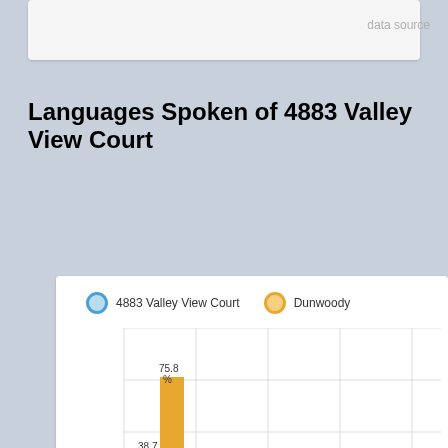data source
Languages Spoken of 4883 Valley View Court
[Figure (grouped-bar-chart): Languages Spoken of 4883 Valley View Court]